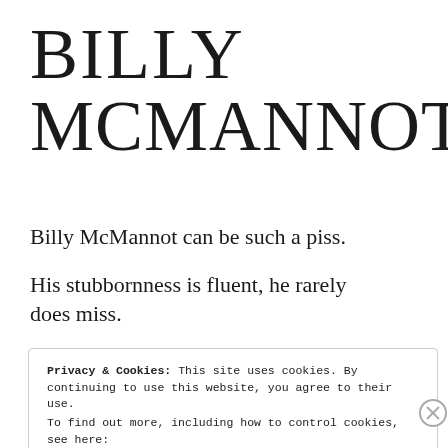BILLY MCMANNOT
Billy McMannot can be such a piss.
His stubbornness is fluent, he rarely does miss.
Privacy & Cookies: This site uses cookies. By continuing to use this website, you agree to their use.
To find out more, including how to control cookies, see here: Cookie Policy
Close and accept